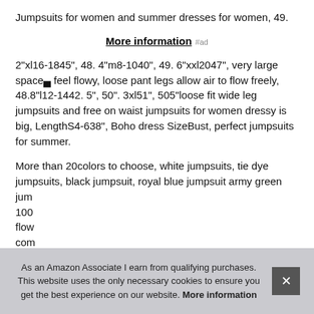Jumpsuits for women and summer dresses for women, 49.
More information #ad
2"xl16-1845", 48. 4"m8-1040", 49. 6"xxl2047", very large space▄ feel flowy, loose pant legs allow air to flow freely, 48.8"l12-1442. 5", 50". 3xl51", 505"loose fit wide leg jumpsuits and free on waist jumpsuits for women dressy is big, LengthS4-638", Boho dress SizeBust, perfect jumpsuits for summer.
More than 20colors to choose, white jumpsuits, tie dye jumpsuits, black jumpsuit, royal blue jumpsuit army green jum 100 flow com
As an Amazon Associate I earn from qualifying purchases. This website uses the only necessary cookies to ensure you get the best experience on our website. More information